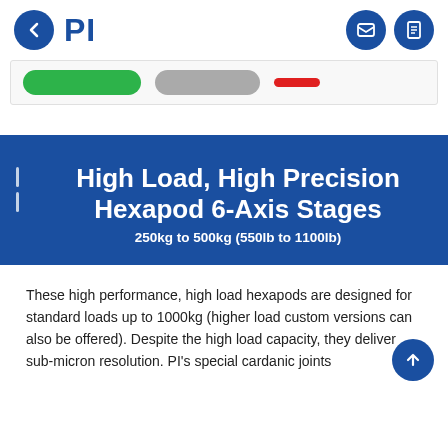[Figure (logo): PI company logo with blue back-arrow circle button on left and PI text in bold blue]
[Figure (screenshot): Partial tab strip showing green, gray, and red pill-shaped tabs]
High Load, High Precision Hexapod 6-Axis Stages
250kg to 500kg (550lb to 1100lb)
These high performance, high load hexapods are designed for standard loads up to 1000kg (higher load custom versions can also be offered). Despite the high load capacity, they deliver sub-micron resolution. PI's special cardanic joints